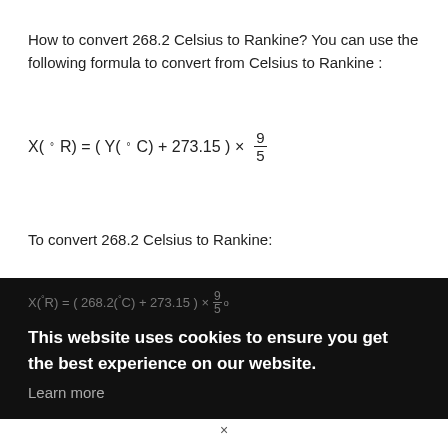How to convert 268.2 Celsius to Rankine? You can use the following formula to convert from Celsius to Rankine :
To convert 268.2 Celsius to Rankine:
[Figure (screenshot): Cookie consent banner overlay on a dark background, partially obscuring a formula. Shows 'X(°R) = ( 268.2(°C) + 273.15 ) × 9/5' in gray text, with bold white text: 'This website uses cookies to ensure you get the best experience on our website.' and gray 'Learn more' link below.]